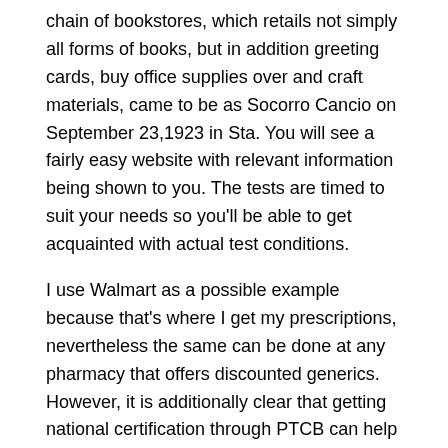chain of bookstores, which retails not simply all forms of books, but in addition greeting cards, buy office supplies over and craft materials, came to be as Socorro Cancio on September 23,1923 in Sta. You will see a fairly easy website with relevant information being shown to you. The tests are timed to suit your needs so you'll be able to get acquainted with actual test conditions.
I use Walmart as a possible example because that's where I get my prescriptions, nevertheless the same can be done at any pharmacy that offers discounted generics. However, it is additionally clear that getting national certification through PTCB can help your job. A pharmacy specialist certification permits one to cultivate social abilities and state of mind in shaping your self being best specialist.
Given this work load, pharmacists can make lucrative and steadfast annual salary range from $77,319 as much as